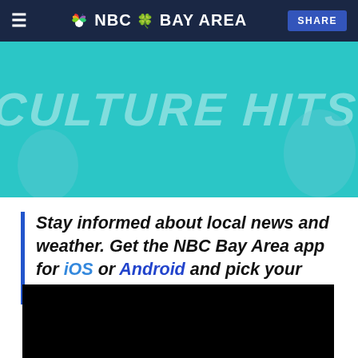NBC Bay Area — SHARE
[Figure (illustration): Culture Hits banner with teal background and illustrated characters]
Stay informed about local news and weather. Get the NBC Bay Area app for iOS or Android and pick your alerts.
[Figure (screenshot): Black video player block]